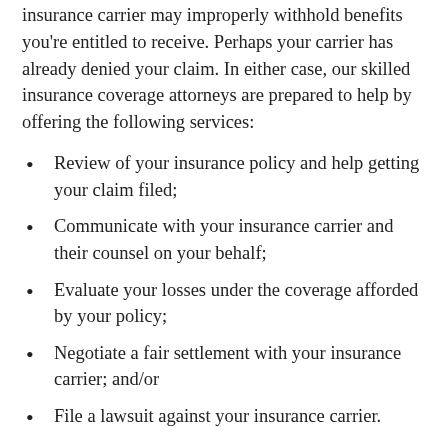insurance carrier may improperly withhold benefits you're entitled to receive. Perhaps your carrier has already denied your claim. In either case, our skilled insurance coverage attorneys are prepared to help by offering the following services:
Review of your insurance policy and help getting your claim filed;
Communicate with your insurance carrier and their counsel on your behalf;
Evaluate your losses under the coverage afforded by your policy;
Negotiate a fair settlement with your insurance carrier; and/or
File a lawsuit against your insurance carrier.